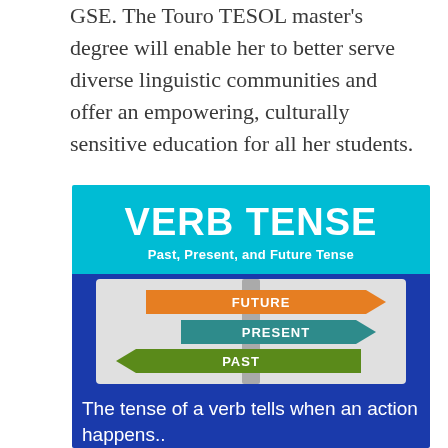GSE. The Touro TESOL master's degree will enable her to better serve diverse linguistic communities and offer an empowering, culturally sensitive education for all her students.
[Figure (infographic): Infographic about verb tense with cyan header reading 'VERB TENSE' and subtitle 'Past, Present, and Future Tense', a blue panel showing directional street signs labeled FUTURE (orange, pointing right), PRESENT (teal, pointing right), PAST (green, pointing left) on a pole, and blue footer text 'The tense of a verb tells when an action happens..']